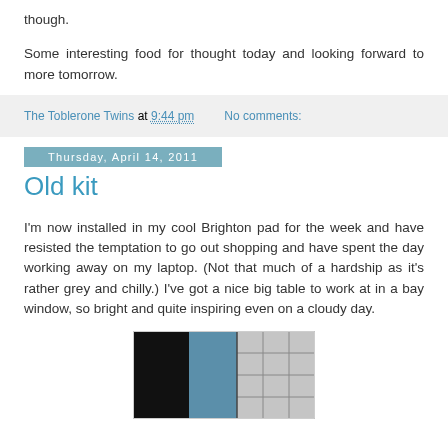though.
Some interesting food for thought today and looking forward to more tomorrow.
The Toblerone Twins at 9:44 pm    No comments:
Thursday, April 14, 2011
Old kit
I'm now installed in my cool Brighton pad for the week and have resisted the temptation to go out shopping and have spent the day working away on my laptop. (Not that much of a hardship as it's rather grey and chilly.) I've got a nice big table to work at in a bay window, so bright and quite inspiring even on a cloudy day.
[Figure (photo): A photo showing a window with grid panes and what appears to be blue/dark interior elements]